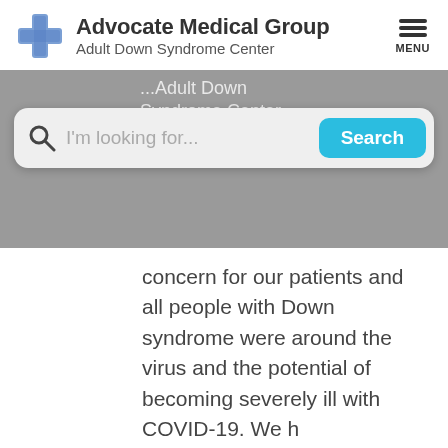[Figure (logo): Advocate Medical Group logo with blue cross icon and text 'Advocate Medical Group / Adult Down Syndrome Center']
Advocate Medical Group
Adult Down Syndrome Center
[Figure (other): Hamburger menu icon with three horizontal bars and MENU label]
...Adult Down Syndrome Center
[Figure (screenshot): Search bar with magnifying glass icon, placeholder text 'I'm looking for...' and a blue 'Search' button]
concern for our patients and all people with Down syndrome were around the virus and the potential of becoming severely ill with COVID-19. We h
[Figure (screenshot): Thumbnail image of a document titled 'Tips for Running Virtual Social Groups']
Tips for Running Virtual Social Groups
Author: Katie Frank, PhD, OTR/L -